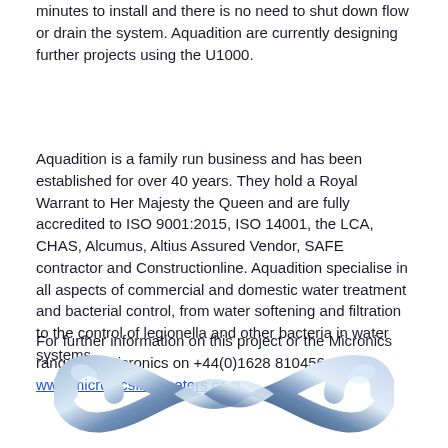minutes to install and there is no need to shut down flow or drain the system. Aquadition are currently designing further projects using the U1000.
Aquadition is a family run business and has been established for over 40 years. They hold a Royal Warrant to Her Majesty the Queen and are fully accredited to ISO 9001:2015, ISO 14001, the LCA, CHAS, Alcumus, Altius Assured Vendor, SAFE contractor and Constructionline. Aquadition specialise in all aspects of commercial and domestic water treatment and bacterial control, from water softening and filtration to the control of legionella and other bacteria in water systems
For further information on this project or the Micronics range call Micronics on +44(0)1628 810456, or visit www.micronicsflowmeters.com.
[Figure (logo): Micronics infinity-shaped silver/blue logo at the bottom of the page]